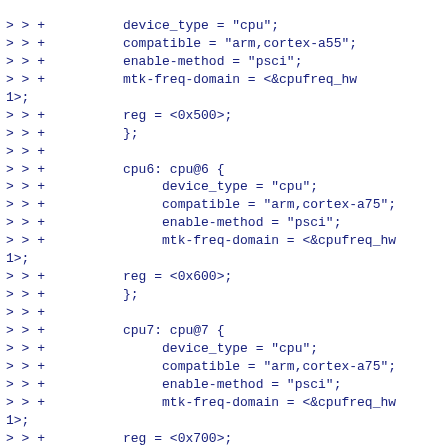Code diff showing device tree entries for cpu5, cpu6, cpu7 nodes with device_type, compatible, enable-method, mtk-freq-domain, reg properties, followed by closing braces and soc block start